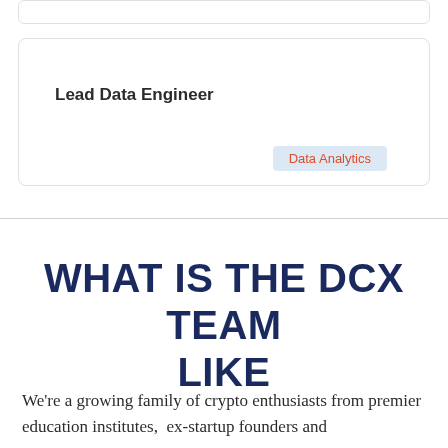Lead Data Engineer
Data Analytics
WHAT IS THE DCX TEAM LIKE
We're a growing family of crypto enthusiasts from premier education institutes,  ex-startup founders and